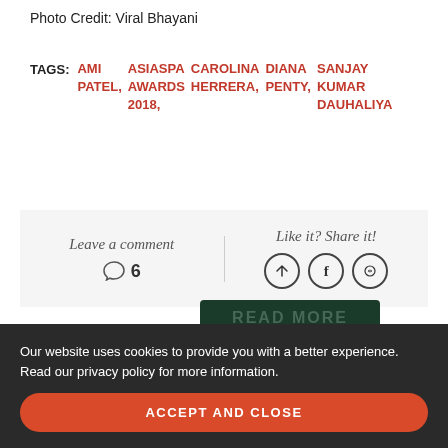Photo Credit: Viral Bhayani
TAGS: AMI PATEL, ASIASPA AWARDS 2018, CAROLINA HERRERA, DIANA PENTY, SANJAY KUMAR DAUHALIYA
Leave a comment  6  |  Like it? Share it!
4
Our website uses cookies to provide you with a better experience. Read our privacy policy for more information.
ACCEPT AND CLOSE